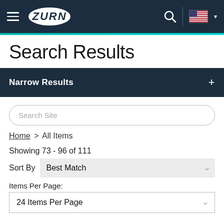ZURN navigation header with hamburger menu, logo, search icon, and US flag
Search Results
Narrow Results +
Search Site
Home > All Items
Showing 73 - 96 of 111
Sort By   Best Match
Items Per Page:
24 Items Per Page